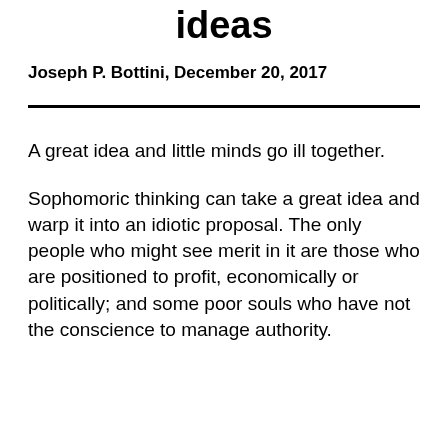ideas
Joseph P. Bottini, December 20, 2017
A great idea and little minds go ill together.
Sophomoric thinking can take a great idea and warp it into an idiotic proposal. The only people who might see merit in it are those who are positioned to profit, economically or politically; and some poor souls who have not the conscience to manage authority.